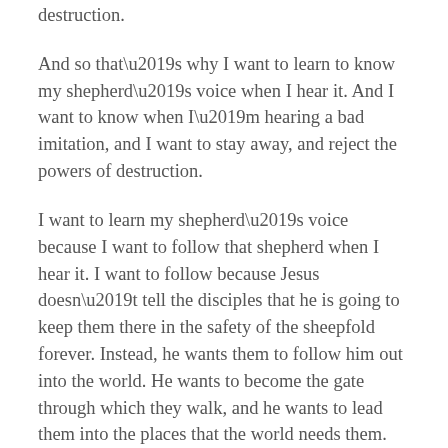destruction.
And so that’s why I want to learn to know my shepherd’s voice when I hear it. And I want to know when I’m hearing a bad imitation, and I want to stay away, and reject the powers of destruction.
I want to learn my shepherd’s voice because I want to follow that shepherd when I hear it. I want to follow because Jesus doesn’t tell the disciples that he is going to keep them there in the safety of the sheepfold forever. Instead, he wants them to follow him out into the world. He wants to become the gate through which they walk, and he wants to lead them into the places that the world needs them.
And yes, sometimes that will even mean that we will